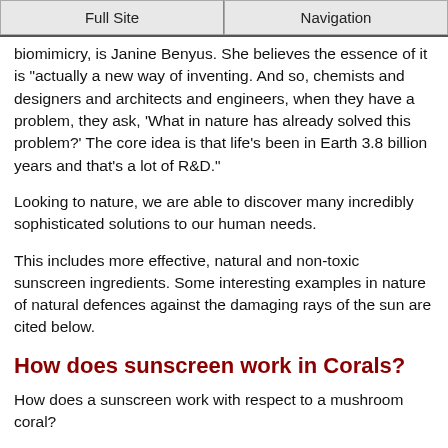Full Site | Navigation
biomimicry, is Janine Benyus. She believes the essence of it is "actually a new way of inventing. And so, chemists and designers and architects and engineers, when they have a problem, they ask, 'What in nature has already solved this problem?' The core idea is that life's been in Earth 3.8 billion years and that's a lot of R&D."
Looking to nature, we are able to discover many incredibly sophisticated solutions to our human needs.
This includes more effective, natural and non-toxic sunscreen ingredients. Some interesting examples in nature of natural defences against the damaging rays of the sun are cited below.
How does sunscreen work in Corals?
How does a sunscreen work with respect to a mushroom coral?
It is known to secrete a mucus to protect itself from the sun's UV rays when exposed, so research is being conducted to